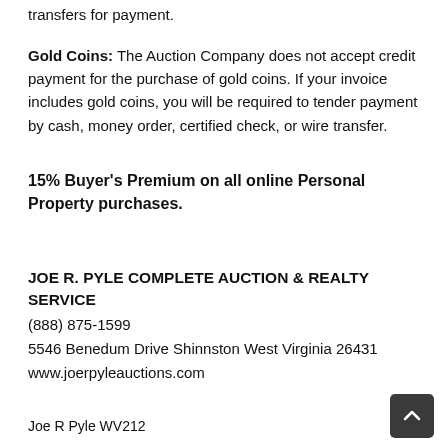transfers for payment.
Gold Coins: The Auction Company does not accept credit payment for the purchase of gold coins. If your invoice includes gold coins, you will be required to tender payment by cash, money order, certified check, or wire transfer.
15% Buyer's Premium on all online Personal Property purchases.
JOE R. PYLE COMPLETE AUCTION & REALTY SERVICE
(888) 875-1599
5546 Benedum Drive Shinnston West Virginia 26431
www.joerpyleauctions.com
Joe R Pyle WV212